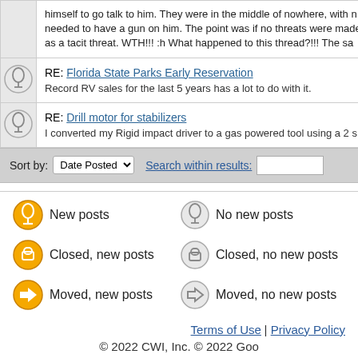himself to go talk to him. They were in the middle of nowhere, with n needed to have a gun on him. The point was if no threats were made as a tacit threat. WTH!!! :h What happened to this thread?!!! The sa
RE: Florida State Parks Early Reservation
Record RV sales for the last 5 years has a lot to do with it.
RE: Drill motor for stabilizers
I converted my Rigid impact driver to a gas powered tool using a 2 s
Sort by: Date Posted  Search within results:
New posts   No new posts   Closed, new posts   Closed, no new posts   Moved, new posts   Moved, no new posts
Terms of Use | Privacy Policy
© 2022 CWI, Inc. © 2022 Goo